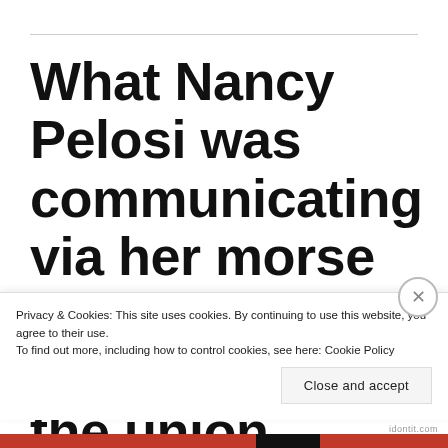What Nancy Pelosi was communicating via her morse code blinking at the state of the union address last
Privacy & Cookies: This site uses cookies. By continuing to use this website, you agree to their use.
To find out more, including how to control cookies, see here: Cookie Policy
Close and accept